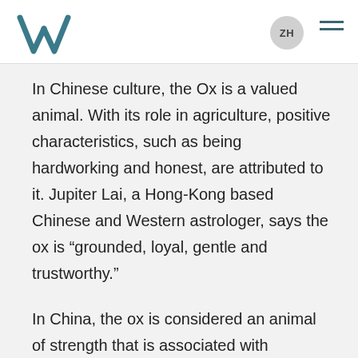ZH
In Chinese culture, the Ox is a valued animal. With its role in agriculture, positive characteristics, such as being hardworking and honest, are attributed to it. Jupiter Lai, a Hong-Kong based Chinese and Western astrologer, says the ox is “grounded, loyal, gentle and trustworthy.”
In China, the ox is considered an animal of strength that is associated with harvests and fertility.